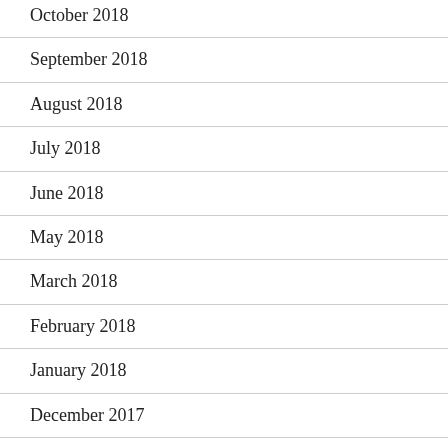October 2018
September 2018
August 2018
July 2018
June 2018
May 2018
March 2018
February 2018
January 2018
December 2017
November 2017
October 2017